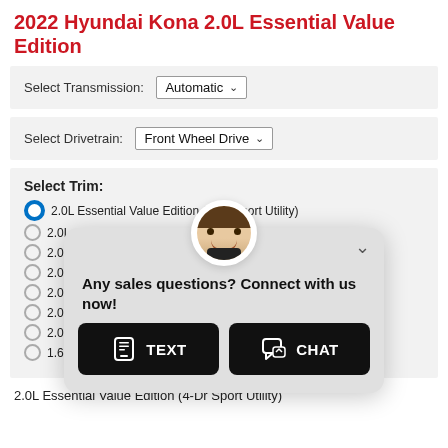2022 Hyundai Kona 2.0L Essential Value Edition
Select Transmission: Automatic
Select Drivetrain: Front Wheel Drive
Select Trim:
2.0L Essential Value Edition (4-Dr Sport Utility)
2.0L ...
2.0L ...
2.0L ...
2.0L ...
2.0L ...
2.0L ...
1.6L LE N Line (4-Dr Sport Utility)
[Figure (screenshot): Chat popup with agent avatar, message 'Any sales questions? Connect with us now!' and two buttons: TEXT and CHAT]
2.0L Essential Value Edition (4-Dr Sport Utility)